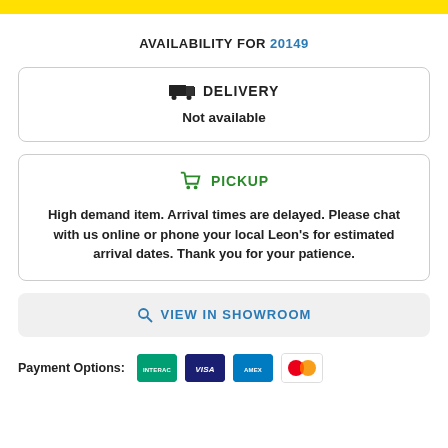[Figure (other): Yellow banner bar at top of page]
AVAILABILITY FOR 20149
DELIVERY
Not available
PICKUP
High demand item. Arrival times are delayed. Please chat with us online or phone your local Leon's for estimated arrival dates. Thank you for your patience.
VIEW IN SHOWROOM
Payment Options: